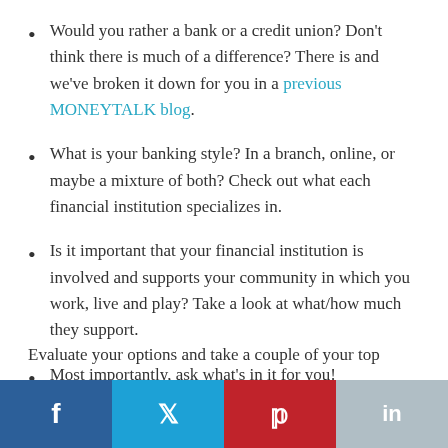Would you rather a bank or a credit union? Don't think there is much of a difference? There is and we've broken it down for you in a previous MONEYTALK blog.
What is your banking style? In a branch, online, or maybe a mixture of both? Check out what each financial institution specializes in.
Is it important that your financial institution is involved and supports your community in which you work, live and play? Take a look at what/how much they support.
Most importantly, ask what's in it for you!
Evaluate your options and take a couple of your top
[Figure (infographic): Social media share buttons bar: Facebook (dark blue), Twitter (light blue), Pinterest (red), LinkedIn (grey-blue)]